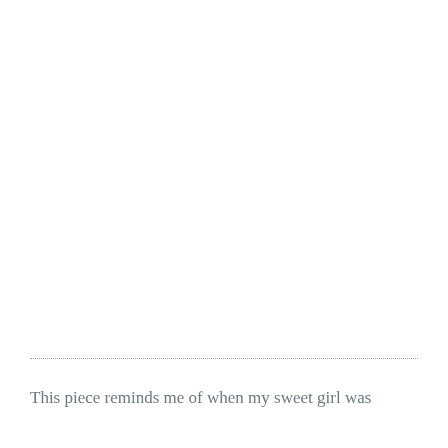This piece reminds me of when my sweet girl was